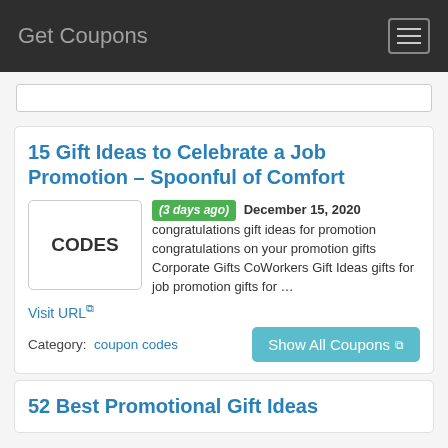Get Coupons
15 Gift Ideas to Celebrate a Job Promotion – Spoonful of Comfort
(3 days ago) December 15, 2020 congratulations gift ideas for promotion congratulations on your promotion gifts Corporate Gifts CoWorkers Gift Ideas gifts for job promotion gifts for …
Visit URL
Category:  coupon codes
Show All Coupons
52 Best Promotional Gift Ideas